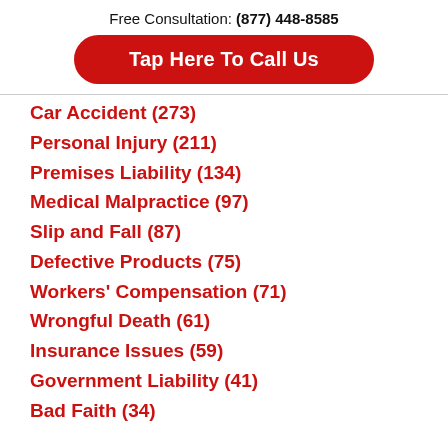Free Consultation: (877) 448-8585
Tap Here To Call Us
Car Accident (273)
Personal Injury (211)
Premises Liability (134)
Medical Malpractice (97)
Slip and Fall (87)
Defective Products (75)
Workers' Compensation (71)
Wrongful Death (61)
Insurance Issues (59)
Government Liability (41)
Bad Faith (34)